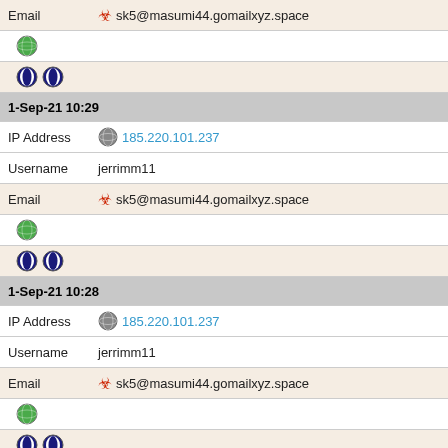| Email | ☣ sk5@masumi44.gomailxyz.space |
| 🌐 |  |
| 🔵🔵 |  |
| 1-Sep-21 10:29 |  |
| IP Address | ⚫ 185.220.101.237 |
| Username | jerrimm11 |
| Email | ☣ sk5@masumi44.gomailxyz.space |
| 🌐 |  |
| 🔵🔵 |  |
| 1-Sep-21 10:28 |  |
| IP Address | ⚫ 185.220.101.237 |
| Username | jerrimm11 |
| Email | ☣ sk5@masumi44.gomailxyz.space |
| 🌐 |  |
| 🔵🔵 |  |
| 1-Sep-21 10:27 |  |
| IP Address | ⚫ 185.220.101.237 |